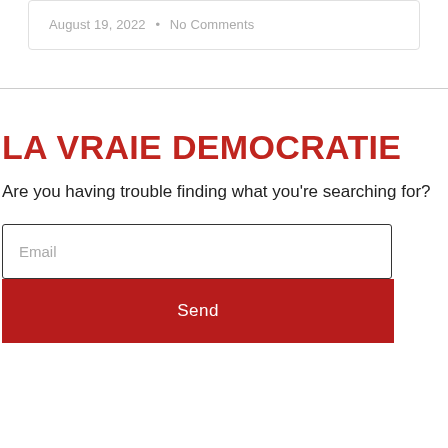August 19, 2022 • No Comments
LA VRAIE DEMOCRATIE
Are you having trouble finding what you're searching for?
Email
Send